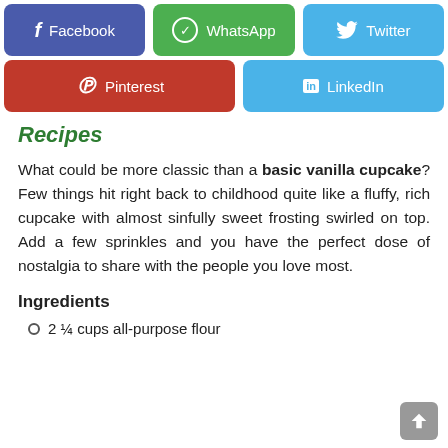[Figure (screenshot): Social media share buttons row 1: Facebook (purple), WhatsApp (green), Twitter (light blue)]
[Figure (screenshot): Social media share buttons row 2: Pinterest (red), LinkedIn (light blue)]
Recipes
What could be more classic than a basic vanilla cupcake? Few things hit right back to childhood quite like a fluffy, rich cupcake with almost sinfully sweet frosting swirled on top. Add a few sprinkles and you have the perfect dose of nostalgia to share with the people you love most.
Ingredients
2 ¼ cups all-purpose flour